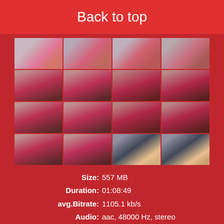Back to top
[Figure (photo): Grid of 16 video thumbnail frames (4 columns x 4 rows) showing a webcam recording preview]
Size: 557 MB
Duration: 01:08:49
avg.Bitrate: 1105.1 kb/s
Audio: aac, 48000 Hz, stereo
Video: h264, yuv420p, 1920x108...